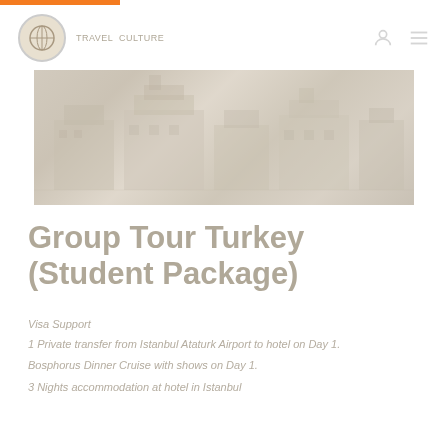[Figure (photo): Faded photograph of Istanbul buildings/architecture, likely showing a historic street scene or landmark.]
Group Tour Turkey (Student Package)
Visa Support
1 Private transfer from Istanbul Ataturk Airport to hotel on Day 1.
Bosphorus Dinner Cruise with shows on Day 1.
3 Nights accommodation at hotel in Istanbul